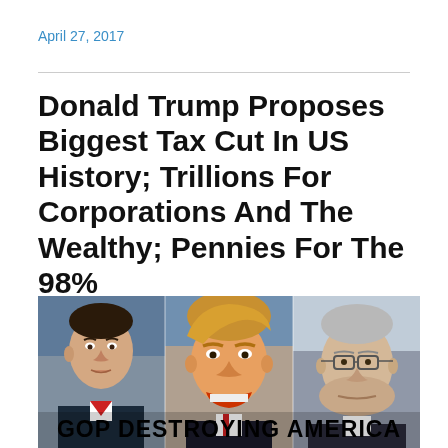April 27, 2017
Donald Trump Proposes Biggest Tax Cut In US History; Trillions For Corporations And The Wealthy; Pennies For The 98%
[Figure (photo): Composite image of three politicians side by side (Paul Ryan, Donald Trump, Mitch McConnell) with overlay text reading 'GOP DESTROYING AMERICA']